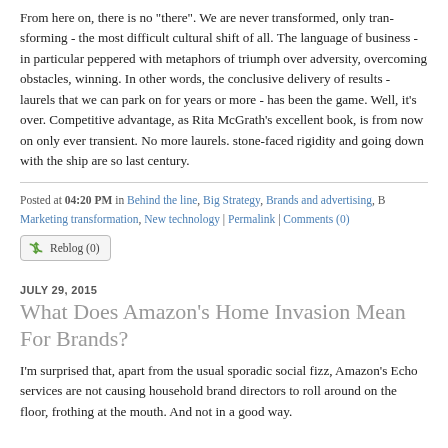From here on, there is no "there". We are never transformed, only transforming - the most difficult cultural shift of all. The language of business - in particular marketing - is peppered with metaphors of triumph over adversity, overcoming obstacles, winning. In other words, the conclusive delivery of results - laurels that we can park on for five years or more - has been the game. Well, it's over. Competitive advantage, as Rita McGrath's excellent book, is from now on only ever transient. No more laurels. Stoic stone-faced rigidity and going down with the ship are so last century.
Posted at 04:20 PM in Behind the line, Big Strategy, Brands and advertising, B... Marketing transformation, New technology | Permalink | Comments (0)
Reblog (0)
JULY 29, 2015
What Does Amazon's Home Invasion Mean For Brands?
I'm surprised that, apart from the usual sporadic social fizz, Amazon's Echo services are not causing household brand directors to roll around on the floor, frothing at the mouth. And not in a good way.